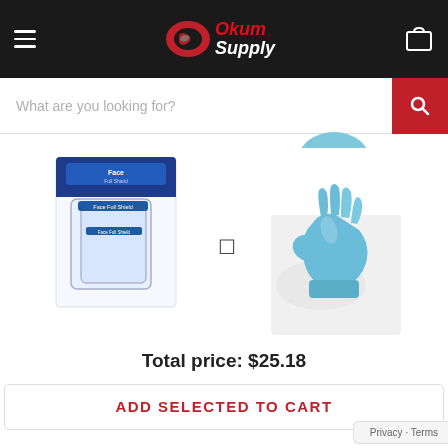[Figure (logo): Okum Supply logo with red oval S icon and red/white italic Okum Supply text on black header bar, with hamburger menu icon on left and shopping cart icon on right]
What are you looking for?
[Figure (photo): Two product images side by side: left shows Face Full Shield safety protection packaging with face shields; right shows blue nitrile medical gloves being worn]
Total price: $25.18
ADD SELECTED TO CART
Privacy · Terms